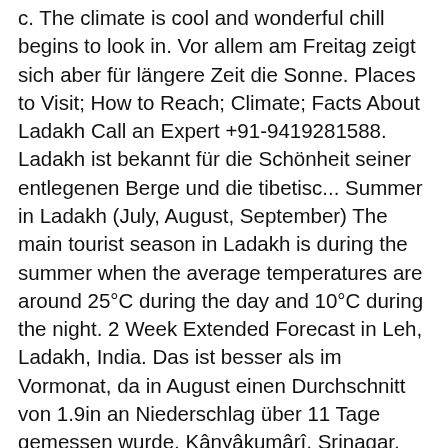c. The climate is cool and wonderful chill begins to look in. Vor allem am Freitag zeigt sich aber für längere Zeit die Sonne. Places to Visit; How to Reach; Climate; Facts About Ladakh Call an Expert +91-9419281588. Ladakh ist bekannt für die Schönheit seiner entlegenen Berge und die tibetisc... Summer in Ladakh (July, August, September) The main tourist season in Ladakh is during the summer when the average temperatures are around 25°C during the day and 10°C during the night. 2 Week Extended Forecast in Leh, Ladakh, India. Das ist besser als im Vormonat, da in August einen Durchschnitt von 1.9in an Niederschlag über 11 Tage gemessen wurde. Kânyâkumârî, Srinagar, Vaishno Devi, Coimbatore, Cuddalore und Karaikal haben gutes Wetter. Leh, Himachal Pradesh 49° F I'd like to know about the weather conditions. The climate is rather cold in this city the month of august. But don't plan this trip as a weekend gateway or three days short-pack. Leh Ladakh temperature in August ranges somewhere between 25 degree celsius to 10 degree celsius. Mal Wolken, mal Sonne - mit beidem ist in den nächsten Tagen beim Wetter in der Region